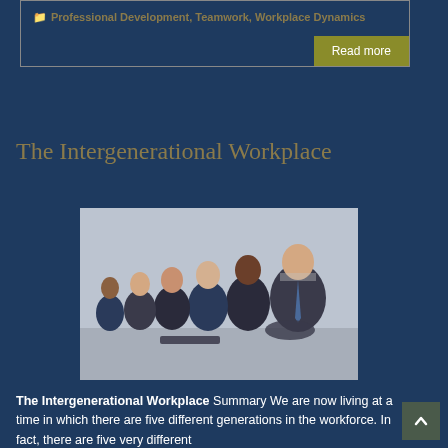Professional Development, Teamwork, Workplace Dynamics
Read more
The Intergenerational Workplace
[Figure (photo): Group of diverse business professionals of different ages sitting together in a row, smiling at camera in a professional setting]
The Intergenerational Workplace Summary We are now living at a time in which there are five different generations in the workforce. In fact, there are five very different